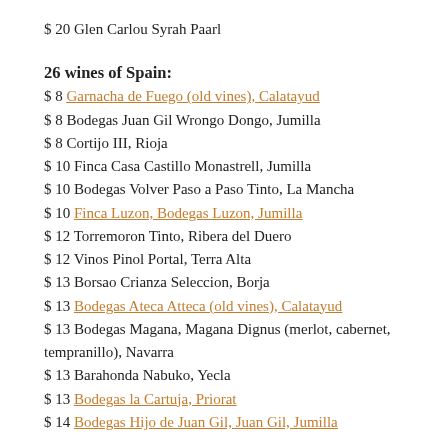$ 20 Glen Carlou Syrah Paarl
26 wines of Spain:
$ 8 Garnacha de Fuego (old vines), Calatayud
$ 8 Bodegas Juan Gil Wrongo Dongo, Jumilla
$ 8 Cortijo III, Rioja
$ 10 Finca Casa Castillo Monastrell, Jumilla
$ 10 Bodegas Volver Paso a Paso Tinto, La Mancha
$ 10 Finca Luzon, Bodegas Luzon, Jumilla
$ 12 Torremoron Tinto, Ribera del Duero
$ 12 Vinos Pinol Portal, Terra Alta
$ 13 Borsao Crianza Seleccion, Borja
$ 13 Bodegas Ateca Atteca (old vines), Calatayud
$ 13 Bodegas Magana, Magana Dignus (merlot, cabernet, tempranillo), Navarra
$ 13 Barahonda Nabuko, Yecla
$ 13 Bodegas la Cartuja, Priorat
$ 14 Bodegas Hijo de Juan Gil, Juan Gil, Jumilla